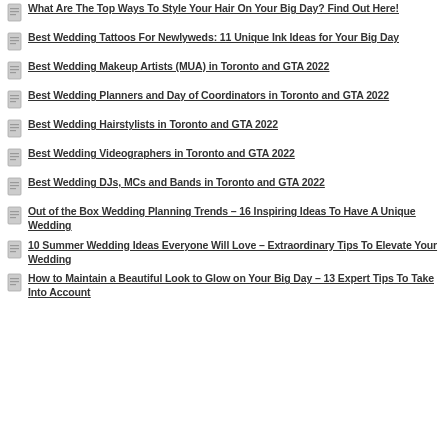What Are The Top Ways To Style Your Hair On Your Big Day? Find Out Here!
Best Wedding Tattoos For Newlyweds: 11 Unique Ink Ideas for Your Big Day
Best Wedding Makeup Artists (MUA) in Toronto and GTA 2022
Best Wedding Planners and Day of Coordinators in Toronto and GTA 2022
Best Wedding Hairstylists in Toronto and GTA 2022
Best Wedding Videographers in Toronto and GTA 2022
Best Wedding DJs, MCs and Bands in Toronto and GTA 2022
Out of the Box Wedding Planning Trends – 16 Inspiring Ideas To Have A Unique Wedding
10 Summer Wedding Ideas Everyone Will Love – Extraordinary Tips To Elevate Your Wedding
How to Maintain a Beautiful Look to Glow on Your Big Day – 13 Expert Tips To Take Into Account